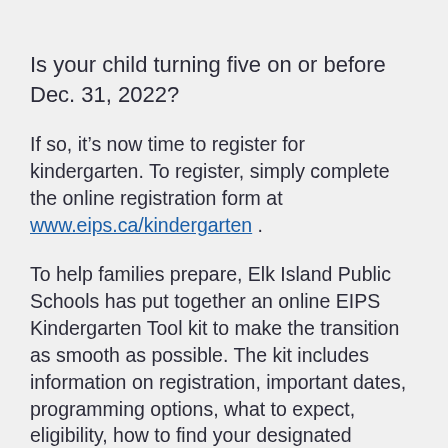Is your child turning five on or before Dec. 31, 2022?
If so, it’s now time to register for kindergarten. To register, simply complete the online registration form at www.eips.ca/kindergarten .
To help families prepare, Elk Island Public Schools has put together an online EIPS Kindergarten Tool kit to make the transition as smooth as possible. The kit includes information on registration, important dates, programming options, what to expect, eligibility, how to find your designated school, transportation and more.